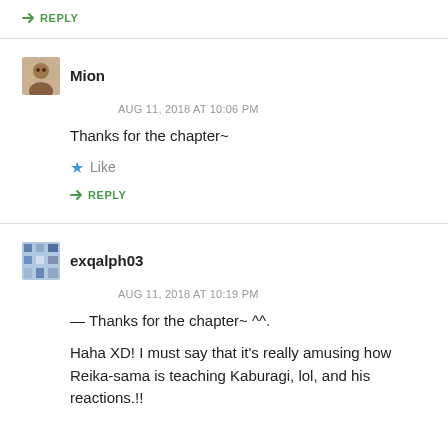↳ REPLY
Mion
AUG 11, 2018 AT 10:06 PM
Thanks for the chapter~
Like
↳ REPLY
exqalph03
AUG 11, 2018 AT 10:19 PM
— Thanks for the chapter~ ^^.
Haha XD! I must say that it's really amusing how Reika-sama is teaching Kaburagi, lol, and his reactions.!!